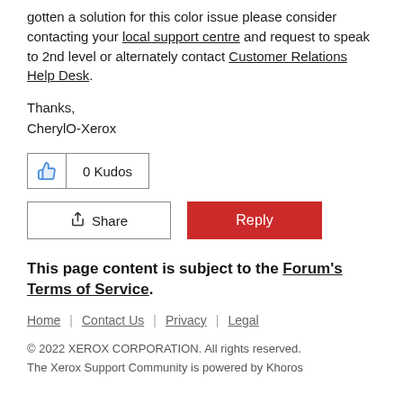gotten a solution for this color issue please consider contacting your local support centre and request to speak to 2nd level or alternately contact Customer Relations Help Desk.
Thanks,
CherylO-Xerox
[Figure (other): Kudos button showing thumbs up icon and '0 Kudos' label, followed by Share and Reply buttons]
This page content is subject to the Forum's Terms of Service.
Home | Contact Us | Privacy | Legal
© 2022 XEROX CORPORATION. All rights reserved.
The Xerox Support Community is powered by Khoros